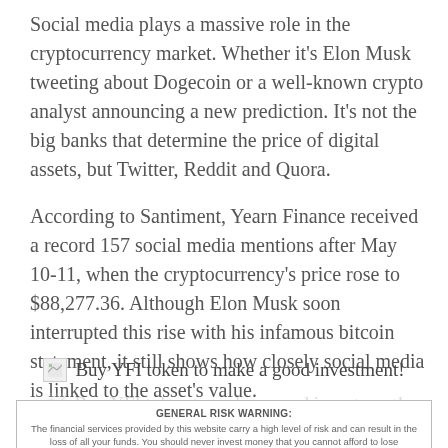Social media plays a massive role in the cryptocurrency market. Whether it's Elon Musk tweeting about Dogecoin or a well-known crypto analyst announcing a new prediction. It's not the big banks that determine the price of digital assets, but Twitter, Reddit and Quora.
According to Santiment, Yearn Finance received a record 157 social media mentions after May 10-11, when the cryptocurrency's price rose to $88,277.36. Although Elon Musk soon interrupted this rise with his infamous bitcoin statement, it still shows how closely social media is linked to the asset's value.
[Figure (illustration): Small broken image icon followed by text: Buy YFI token to make a good investment!]
GENERAL RISK WARNING: The financial services provided by this website carry a high level of risk and can result in the loss of all your funds. You should never invest money that you cannot afford to lose